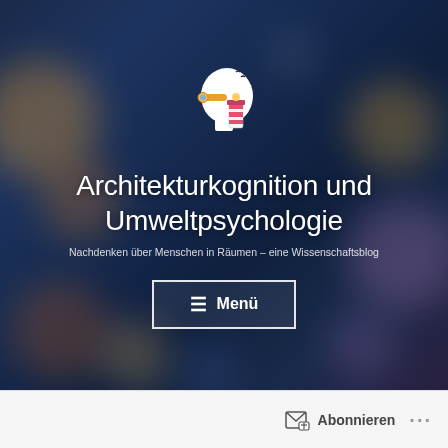[Figure (illustration): Logo icon of a human head silhouette in white with a lighthouse and telescope/binoculars, with small bird silhouettes flying]
Architekturkognition und Umweltpsychologie
Nachdenken über Menschen in Räumen – eine Wissenschaftsblog
≡ Menü
Abonnieren
···